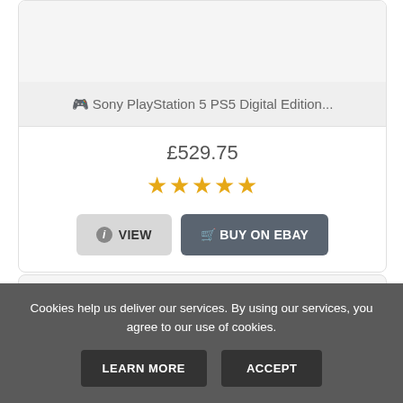[Figure (photo): Product image area (top, partially cropped) for Sony PlayStation 5 PS5 Digital Edition listing]
🎮 Sony PlayStation 5 PS5 Digital Edition...
£529.75
★★★★★
ℹ VIEW
🛒 BUY ON EBAY
[Figure (photo): Partial product image of Sony PlayStation 5 console (bottom listing card, cropped)]
Cookies help us deliver our services. By using our services, you agree to our use of cookies.
LEARN MORE
ACCEPT